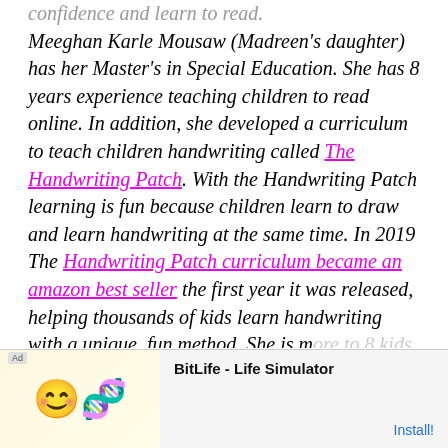confidence and learn to read. Meeghan Karle Mousaw (Madreen's daughter) has her Master's in Special Education. She has 8 years experience teaching children to read online. In addition, she developed a curriculum to teach children handwriting called The Handwriting Patch. With the Handwriting Patch learning is fun because children learn to draw and learn handwriting at the same time. In 2019 The Handwriting Patch curriculum became an amazon best seller the first year it was released, helping thousands of kids learn handwriting with a unique, fun method. She is more to 8 kids, each with differently learn...
[Figure (screenshot): Advertisement banner for BitLife - Life Simulator app with emoji icons and Install button]